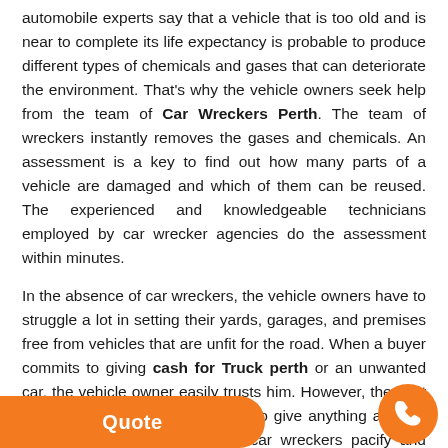automobile experts say that a vehicle that is too old and is near to complete its life expectancy is probable to produce different types of chemicals and gases that can deteriorate the environment. That's why the vehicle owners seek help from the team of Car Wreckers Perth. The team of wreckers instantly removes the gases and chemicals. An assessment is a key to find out how many parts of a vehicle are damaged and which of them can be reused. The experienced and knowledgeable technicians employed by car wrecker agencies do the assessment within minutes.

In the absence of car wreckers, the vehicle owners have to struggle a lot in setting their yards, garages, and premises free from vehicles that are unfit for the road. When a buyer commits to giving cash for Truck perth or an unwanted car, the vehicle owner easily trusts him. However, they get agitated when the buyer refuses to give anything and the deal ends up in a mess. The car wreckers pacify and please vehicle owners by providing them on-the-spot cash in a place the availability of car wreckers the vehicle owners heedn't go through any hassle and stress related to